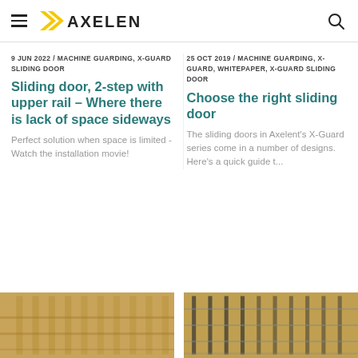AXELENT
9 JUN 2022 / MACHINE GUARDING, X-GUARD SLIDING DOOR
Sliding door, 2-step with upper rail – Where there is lack of space sideways
Perfect solution when space is limited - Watch the installation movie!
25 OCT 2019 / MACHINE GUARDING, X-GUARD, WHITEPAPER, X-GUARD SLIDING DOOR
Choose the right sliding door
The sliding doors in Axelent's X-Guard series come in a number of designs. Here's a quick guide t...
[Figure (photo): Industrial machine guarding installation photo, warm golden tones]
[Figure (photo): Industrial machine guarding fence installation photo, warm golden tones]